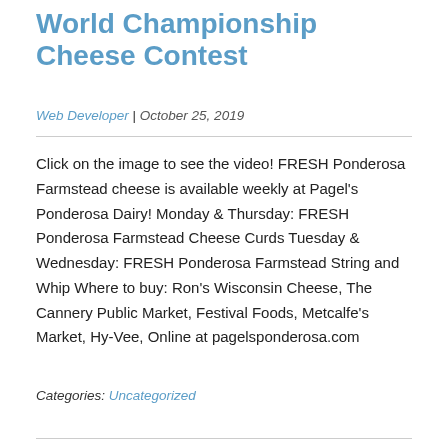World Championship Cheese Contest
Web Developer | October 25, 2019
Click on the image to see the video! FRESH Ponderosa Farmstead cheese is available weekly at Pagel's Ponderosa Dairy! Monday & Thursday: FRESH Ponderosa Farmstead Cheese Curds Tuesday & Wednesday: FRESH Ponderosa Farmstead String and Whip Where to buy: Ron's Wisconsin Cheese, The Cannery Public Market, Festival Foods, Metcalfe's Market, Hy-Vee, Online at pagelsponderosa.com
Categories: Uncategorized